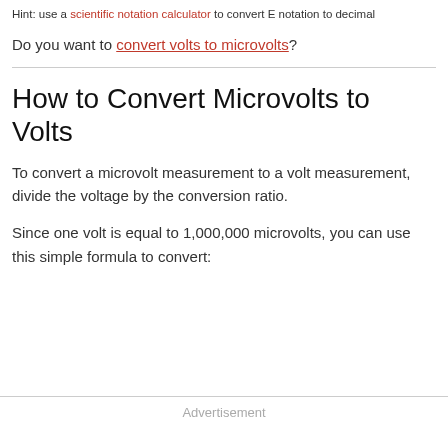Hint: use a scientific notation calculator to convert E notation to decimal
Do you want to convert volts to microvolts?
How to Convert Microvolts to Volts
To convert a microvolt measurement to a volt measurement, divide the voltage by the conversion ratio.
Since one volt is equal to 1,000,000 microvolts, you can use this simple formula to convert:
Advertisement